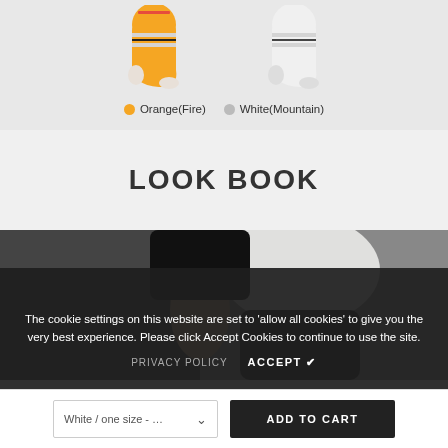[Figure (photo): Two athletic socks shown from the side: one orange with black/white stripes on the left, one white with black/white stripes on the right, on a light gray background]
Orange(Fire)   White(Mountain)
LOOK BOOK
[Figure (photo): A person wearing athletic wear, appearing to be in a basketball or sports context, shown from waist down with black leggings and white top]
The cookie settings on this website are set to 'allow all cookies' to give you the very best experience. Please click Accept Cookies to continue to use the site.
PRIVACY POLICY   ACCEPT ✔
White / one size - ...
ADD TO CART